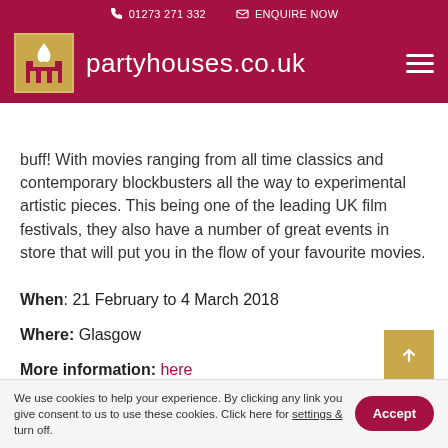01273 271 332  ENQUIRE NOW  partyhouses.co.uk
buff! With movies ranging from all time classics and contemporary blockbusters all the way to experimental artistic pieces. This being one of the leading UK film festivals, they also have a number of great events in store that will put you in the flow of your favourite movies.
When: 21 February to 4 March 2018
Where: Glasgow
More information: here
We use cookies to help your experience. By clicking any link you give consent to us to use these cookies. Click here for settings & turn off.